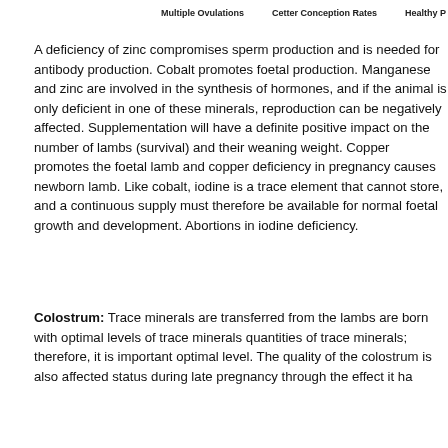Multiple Ovulations    Cetter Conception Rates    Healthy P
A deficiency of zinc compromises sperm production and is needed for antibody production. Cobalt promotes foetal production. Manganese and zinc are involved in the synthesis of hormones, and if the animal is only deficient in one of these minerals, reproduction can be negatively affected. Supplementing with zinc will have a definite positive impact on the number of lambs (survival) and their weaning weight. Copper promotes the foetal lamb and copper deficiency in pregnancy causes newborn lamb. Like cobalt, iodine is a trace element that cannot store, and a continuous supply must therefore be available for normal foetal growth and development. Abortions and iodine deficiency.
Colostrum: Trace minerals are transferred from the lambs are born with optimal levels of trace minerals quantities of trace minerals; therefore, it is important optimal level. The quality of the colostrum is also affected status during late pregnancy through the effect it ha